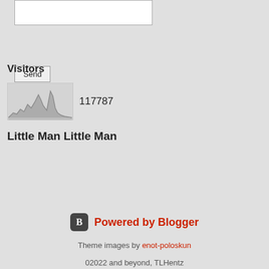[Figure (other): Text input textarea box (white, with resize handle)]
[Figure (other): Send button, grey with border]
Visitors
[Figure (other): Visitor counter widget showing a small traffic spike chart in grey and the number 117787]
Little Man Little Man
[Figure (other): Audio player bar (dark background) with play button, progress bar, time 06:33, volume bars icon, and share/reply icon]
[Figure (logo): Powered by Blogger logo with orange-red text]
Theme images by enot-poloskun
02022 and beyond, TLHentz